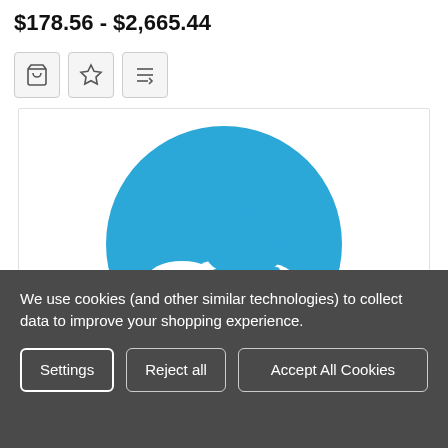$178.56 - $2,665.44
[Figure (logo): Gentaur company logo: blue circle with white figure riding a dog/animal silhouette, with text 'Gentaur' in white at the bottom of the circle]
We use cookies (and other similar technologies) to collect data to improve your shopping experience.
Settings | Reject all | Accept All Cookies